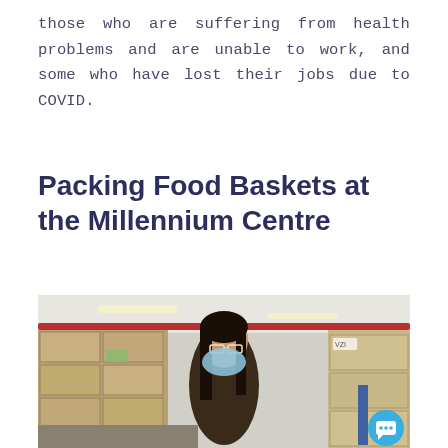those who are suffering from health problems and are unable to work, and some who have lost their jobs due to COVID.
Packing Food Baskets at the Millennium Centre
[Figure (photo): A woman wearing glasses and a blue face mask stands in a warehouse storage area surrounded by stacked cardboard boxes on shelving units. The ceiling has red pipes and fluorescent lighting. A blue chat button icon is overlaid in the bottom right corner.]